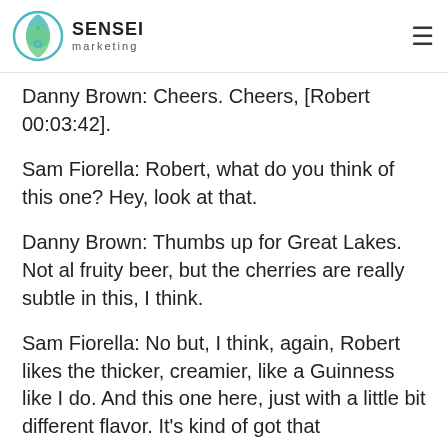SENSEI marketing
Danny Brown: Cheers. Cheers, [Robert 00:03:42].
Sam Fiorella: Robert, what do you think of this one? Hey, look at that.
Danny Brown: Thumbs up for Great Lakes. Not al fruity beer, but the cherries are really subtle in this, I think.
Sam Fiorella: No but, I think, again, Robert likes the thicker, creamier, like a Guinness like I do. And this one here, just with a little bit different flavor. It's kind of got that